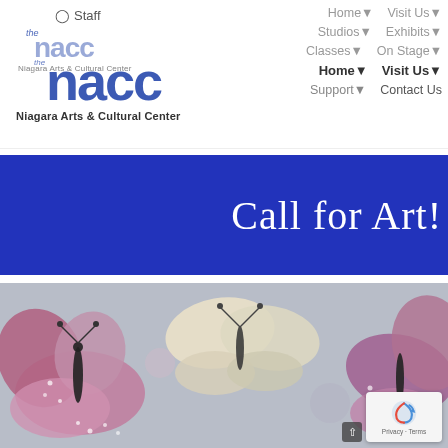Staff
[Figure (logo): NACC logo - Niagara Arts & Cultural Center, double layered 'the nacc' text in blue]
Home Visit Us Studios Exhibits Classes On Stage Home Visit Us Support Contact Us
Call for Art!
[Figure (photo): Close-up painting of colorful butterflies with pink, purple, and cream wings on a grey-blue background]